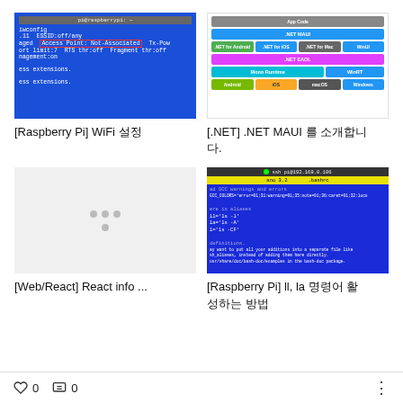[Figure (screenshot): Raspberry Pi terminal showing WiFi configuration with 'Access Point: Not-Associated' highlighted in red box on blue background]
[Raspberry Pi] WiFi 설정
[Figure (infographic): .NET MAUI platform diagram showing colored buttons for .NET MAUI, .NET for Android, .NET for iOS, .NET for Mac, WinUI, .NET EAOL, Mono Runtime, Xamarin, Android, iOS, macOS, Windows]
[.NET] .NET MAUI 를 소개합니다.
[Figure (screenshot): Loading placeholder with gray dots on light gray background]
[Web/React] React info ...
[Figure (screenshot): Raspberry Pi terminal showing .bashrc file with ll, la alias definitions on blue background]
[Raspberry Pi] ll, la 명령어 활성하는 방법
0   0